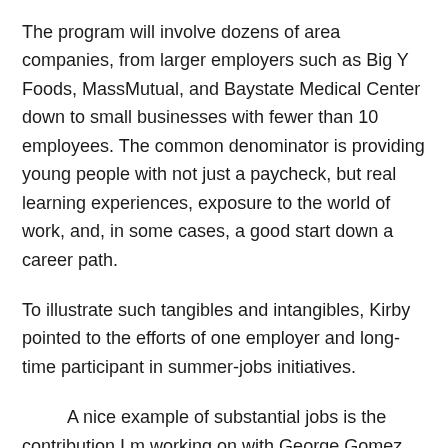The program will involve dozens of area companies, from larger employers such as Big Y Foods, MassMutual, and Baystate Medical Center down to small businesses with fewer than 10 employees. The common denominator is providing young people with not just a paycheck, but real learning experiences, exposure to the world of work, and, in some cases, a good start down a career path.
To illustrate such tangibles and intangibles, Kirby pointed to the efforts of one employer and long-time participant in summer-jobs initiatives.
A nice example of substantial jobs is the contribution I’m working on with George Gomez,” she explained. He is the president and owner of nine McDonald’s in